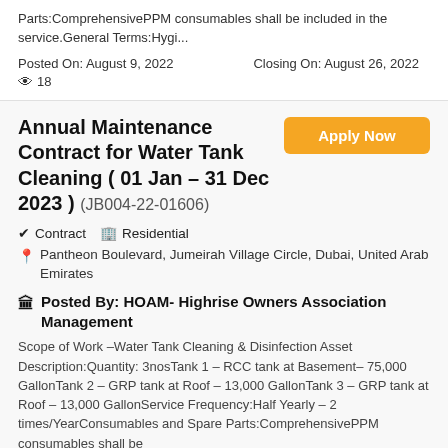Parts:ComprehensivePPM consumables shall be included in the service.General Terms:Hygi...
Posted On: August 9, 2022    Closing On: August 26, 2022
18
Annual Maintenance Contract for Water Tank Cleaning ( 01 Jan – 31 Dec 2023 ) (JB004-22-01606)
Apply Now
Contract   Residential
Pantheon Boulevard, Jumeirah Village Circle, Dubai, United Arab Emirates
Posted By: HOAM- Highrise Owners Association Management
Scope of Work –Water Tank Cleaning & Disinfection Asset Description:Quantity: 3nosTank 1 – RCC tank at Basement– 75,000 GallonTank 2 – GRP tank at Roof – 13,000 GallonTank 3 – GRP tank at Roof – 13,000 GallonService Frequency:Half Yearly – 2 times/YearConsumables and Spare Parts:ComprehensivePPM consumables shall be